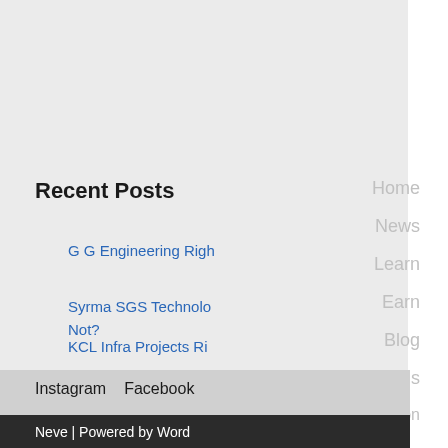Recent Posts
G G Engineering Righ…
Syrma SGS Technolo… Not?
KCL Infra Projects Ri…
Daily Analysis of Stoc…
Home
News
Learn
Earn
Blog
Daily Analysis
Corporate Action
Instagram   Facebook
Neve | Powered by Word…